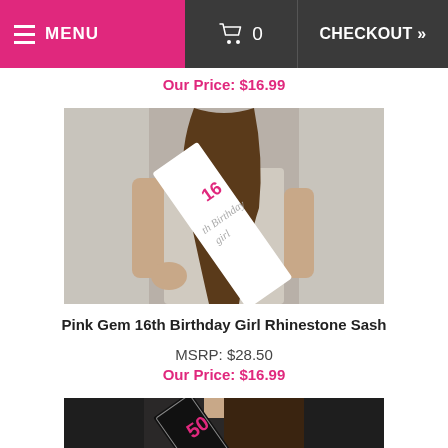MENU  0  CHECKOUT »
Our Price: $16.99
[Figure (photo): Woman wearing a white 16th Birthday Girl rhinestone sash diagonally across her body]
Pink Gem 16th Birthday Girl Rhinestone Sash
MSRP: $28.50
Our Price: $16.99
[Figure (photo): Woman wearing a black 50th birthday rhinestone sash diagonally across her body (partially visible)]